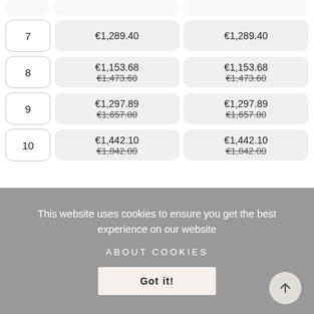| # | Price | Price |
| --- | --- | --- |
| 7 | €1,289.40 | €1,289.40 |
| 8 | €1,153.68 / €1,473.60 | €1,153.68 / €1,473.60 |
| 9 | €1,297.89 / €1,657.80 | €1,297.89 / €1,657.80 |
| 10 | €1,442.10 / €1,842.00 | €1,442.10 / €1,842.00 |
This website uses cookies to ensure you get the best experience on our website
ABOUT COOKIES
Got it!